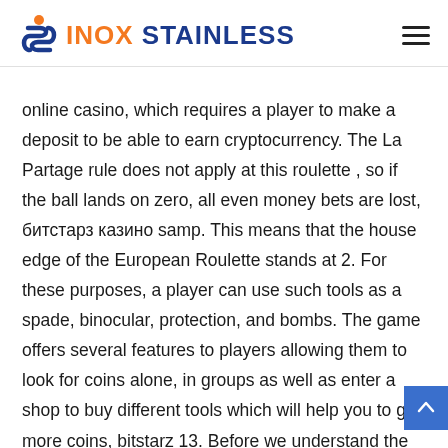INOX STAINLESS
online casino, which requires a player to make a deposit to be able to earn cryptocurrency. The La Partage rule does not apply at this roulette , so if the ball lands on zero, all even money bets are lost, битстарз казино samp. This means that the house edge of the European Roulette stands at 2. For these purposes, a player can use such tools as a spade, binocular, protection, and bombs. The game offers several features to players allowing them to look for coins alone, in groups as well as enter a shop to buy different tools which will help you to get more coins, bitstarz 13. Before we understand the concept, we need to go through some basics first. The